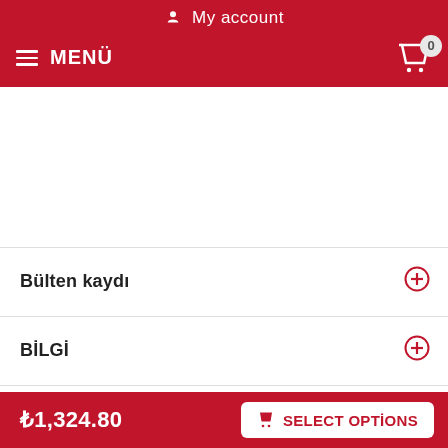My account
MENÜ
Bülten kaydı
BİLGİ
HESABIM
FAQ
₺1,324.80
SELECT OPTİONS